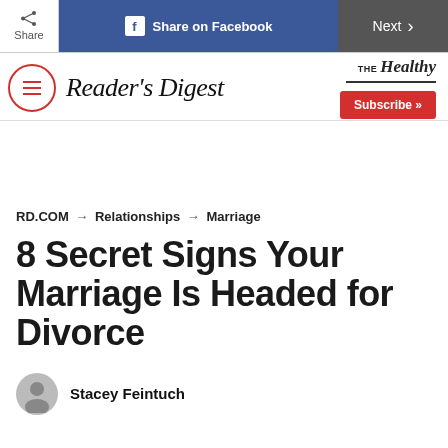Share | Share on Facebook | Next
Reader's Digest | THE Healthy | Subscribe >>
RD.COM → Relationships → Marriage
8 Secret Signs Your Marriage Is Headed for Divorce
Stacey Feintuch